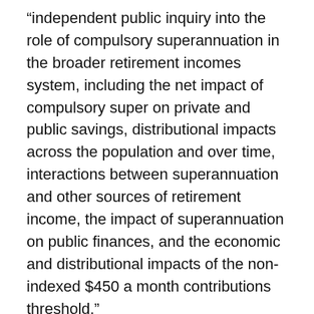“independent public inquiry into the role of compulsory superannuation in the broader retirement incomes system, including the net impact of compulsory super on private and public savings, distributional impacts across the population and over time, interactions between superannuation and other sources of retirement income, the impact of superannuation on public finances, and the economic and distributional impacts of the non-indexed $450 a month contributions threshold.”
The PC said this inquiry should be done before there was any rise in the superannuation guarantee rate.
The superannuation guarantee - increases in which have been pause - is due to start rising again from mid-2021.